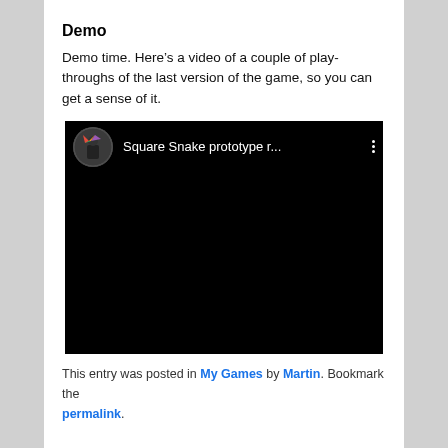Demo
Demo time. Here’s a video of a couple of play-throughs of the last version of the game, so you can get a sense of it.
[Figure (screenshot): Embedded YouTube video player showing 'Square Snake prototype r...' with a dark/black video area and a channel avatar in the top-left corner.]
This entry was posted in My Games by Martin. Bookmark the permalink.